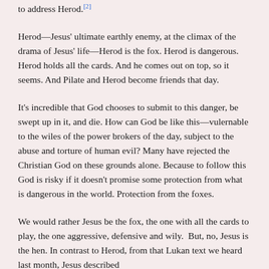to address Herod.[2]
Herod—Jesus' ultimate earthly enemy, at the climax of the drama of Jesus' life—Herod is the fox. Herod is dangerous. Herod holds all the cards. And he comes out on top, so it seems. And Pilate and Herod become friends that day.
It's incredible that God chooses to submit to this danger, be swept up in it, and die. How can God be like this—vulernable to the wiles of the power brokers of the day, subject to the abuse and torture of human evil? Many have rejected the Christian God on these grounds alone. Because to follow this God is risky if it doesn't promise some protection from what is dangerous in the world. Protection from the foxes.
We would rather Jesus be the fox, the one with all the cards to play, the one aggressive, defensive and wily.  But, no, Jesus is the hen. In contrast to Herod, from that Lukan text we heard last month, Jesus described himself...